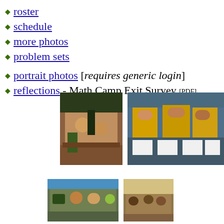roster
schedule
more photos
problem sets
portrait photos [requires generic login]
reflections - Math Camp Exit Survey [PDF]
[Figure (photo): Teacher leaning over table helping students in a classroom with a chalkboard in background]
[Figure (photo): Children in yellow shirts lying on floor working on papers]
[Figure (photo): Students sitting at tables in a classroom working]
[Figure (photo): Children sitting at table doing activities]